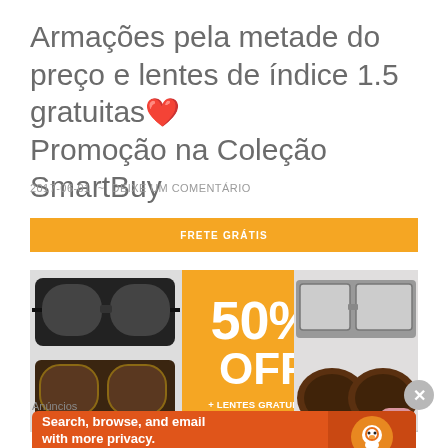Armações pela metade do preço e lentes de índice 1.5 gratuitas❤️ Promoção na Coleção SmartBuy
2017-06-01 ~ DEIXE UM COMENTÁRIO
[Figure (infographic): Orange banner with text FRETE GRÁTIS]
[Figure (infographic): Promotional banner showing eyeglasses on left and right, center orange panel with 50% OFF + LENTES GRATUITAS*]
Anúncios
[Figure (infographic): DuckDuckGo advertisement: Search, browse, and email with more privacy. All in One Free App. Orange banner with DuckDuckGo logo.]